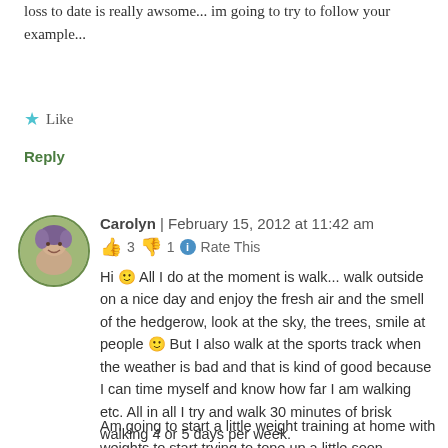loss to date is really awsome... im going to try to follow your example...
Like
Reply
Carolyn | February 15, 2012 at 11:42 am
👍 3 👎 1 ℹ Rate This
Hi 🙂 All I do at the moment is walk... walk outside on a nice day and enjoy the fresh air and the smell of the hedgerow, look at the sky, the trees, smile at people 🙂 But I also walk at the sports track when the weather is bad and that is kind of good because I can time myself and know how far I am walking etc. All in all I try and walk 30 minutes of brisk walking 4 or 5 days per week.
Am going to start a little weight training at home with weights to start trying to tone up a little soon